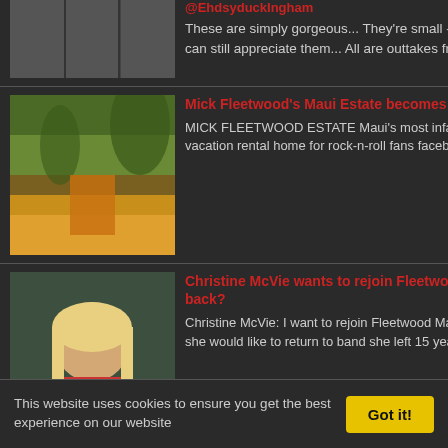[Figure (photo): Partial thumbnail image at top left]
These are simply gorgeous... They're small - but large enough that you can still appreciate them... All are outtakes from the Buckingh...
[Figure (photo): Mick Fleetwood Maui estate thumbnail - tropical scene]
Mick Fleetwood's Maui Estate becomes Vacation Rental Property
MICK FLEETWOOD ESTATE Maui's most infamous estate, becomes a vacation rental home for rock-n-roll fans facebook Nestled within the ...
[Figure (photo): Christine McVie photo thumbnail]
Christine McVie wants to rejoin Fleetwood Mac! If they want her back?
Christine McVie: I want to rejoin Fleetwood Mac Singer and songwriter says she would like to return to band she left 15 years ago – if...
[Figure (photo): Small thumbnails at bottom]
Fleetwood Mac "On
Onwards... and Upwards...
Posted by Nickslive at Tu
Labels: Fleetwood Mac 2...
[Figure (screenshot): Social sharing buttons: email, blogger, twitter, facebook, pinterest]
17 comments:
Anonymous said...
I think achieving the c... released four-song E...
7 May 2013 at 16:57
Anonymous said...
"Extended Play" is cu... http://www.apple.com...
7 May 2013 at 16:59
greg said...
This website uses cookies to ensure you get the best experience on our website